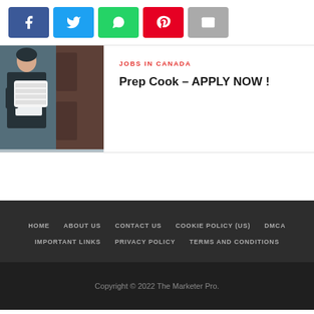[Figure (infographic): Social share buttons: Facebook (blue), Twitter (light blue), WhatsApp (green), Pinterest (red), Email (grey)]
[Figure (photo): A hotel housekeeper in uniform holding folded white towels near a dark wooden door]
JOBS IN CANADA
Prep Cook – APPLY NOW !
HOME   ABOUT US   CONTACT US   COOKIE POLICY (US)   DMCA   IMPORTANT LINKS   PRIVACY POLICY   TERMS AND CONDITIONS
Copyright © 2022 The Marketer Pro.